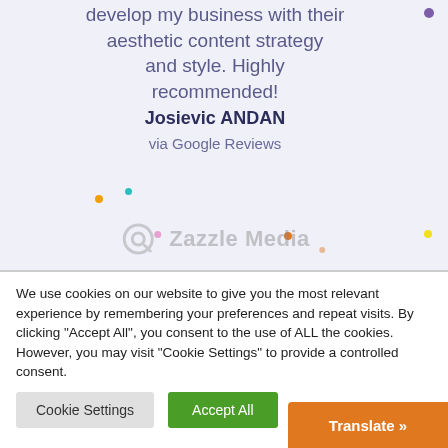develop my business with their aesthetic content strategy and style. Highly recommended! Josievic ANDAN via Google Reviews
[Figure (logo): Zazzle Media logo — circular icon with Q shape and company name in grey]
We use cookies on our website to give you the most relevant experience by remembering your preferences and repeat visits. By clicking "Accept All", you consent to the use of ALL the cookies. However, you may visit "Cookie Settings" to provide a controlled consent.